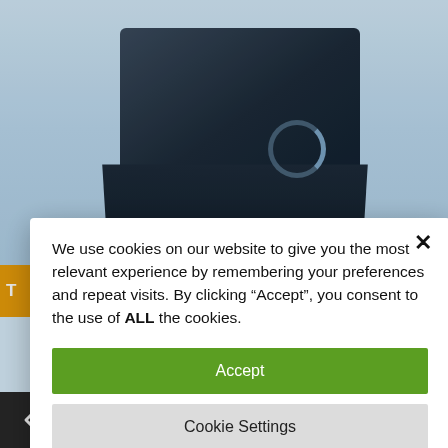[Figure (screenshot): Background of a website showing a dark electronic device box on a light blue gradient background, with an orange promotional banner partially visible]
We use cookies on our website to give you the most relevant experience by remembering your preferences and repeat visits. By clicking “Accept”, you consent to the use of ALL the cookies.
Accept
Cookie Settings
Reject
Learn More
[Figure (screenshot): Bottom navigation toolbar with icons: back arrow, info, globe/settings, filter, calculator, wrench/settings, close X — on dark background]